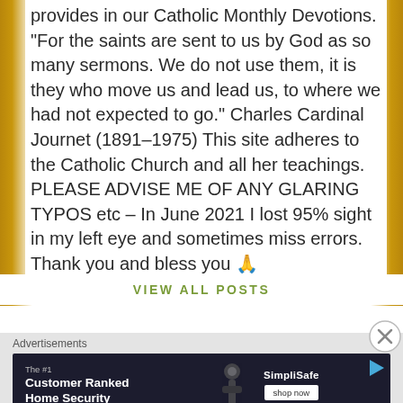provides in our Catholic Monthly Devotions. "For the saints are sent to us by God as so many sermons. We do not use them, it is they who move us and lead us, to where we had not expected to go." Charles Cardinal Journet (1891–1975) This site adheres to the Catholic Church and all her teachings. PLEASE ADVISE ME OF ANY GLARING TYPOS etc – In June 2021 I lost 95% sight in my left eye and sometimes miss errors. Thank you and bless you 🙏
VIEW ALL POSTS
[Figure (other): Advertisement banner: SimpliSafe home security ad with text 'The #1 Customer Ranked Home Security', a dark background with a security camera image, SimpliSafe logo, and a 'shop now' button.]